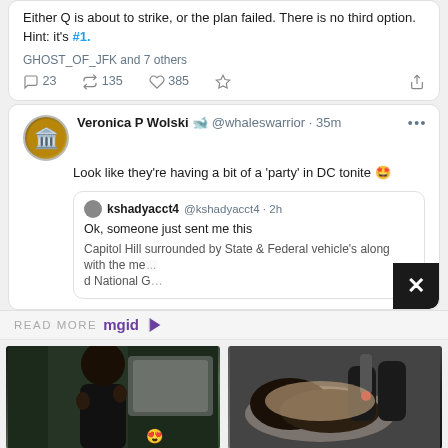[Figure (screenshot): Top portion of a tweet card showing text 'Either Q is about to strike, or the plan failed. There is no third option. Hint: it’s #1.' with engagement stats: 23 comments, 135 retweets, 385 likes. GHOST_OF_JFK and 7 others liked.]
[Figure (screenshot): Tweet by Veronica P Wolski @whaleswarrior 35m: 'Look like they’re having a bit of a ‘party’ in DC tonite 🥰' with a quoted tweet from kshadyacct4 @kshadyacct4 2h: 'Ok, someone just sent me this' and 'Capitol Hill surrounded by State & Federal vehicle’s along with the me[rchandise of] National G[uard]...']
READ MORE mgid
[Figure (photo): Young Black woman with curly hair wearing black outfit, standing near a car, with fire emoji overlay]
Destiny’s Body Does Give Her Leading Lady Energy!
[Figure (photo): Person lying down receiving laser tattoo removal treatment on their neck/face area, being treated by gloved hands]
What’s The Fastest, Most Effective Way To Remove A Tattoo?